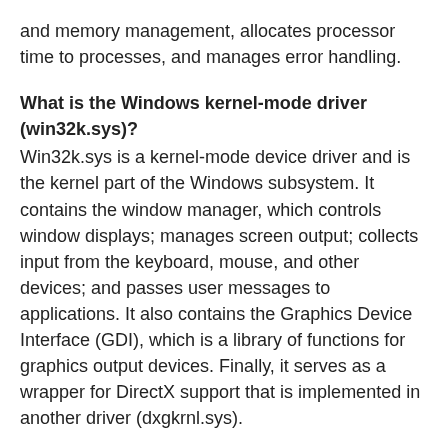and memory management, allocates processor time to processes, and manages error handling.
What is the Windows kernel-mode driver (win32k.sys)?
Win32k.sys is a kernel-mode device driver and is the kernel part of the Windows subsystem. It contains the window manager, which controls window displays; manages screen output; collects input from the keyboard, mouse, and other devices; and passes user messages to applications. It also contains the Graphics Device Interface (GDI), which is a library of functions for graphics output devices. Finally, it serves as a wrapper for DirectX support that is implemented in another driver (dxgkrnl.sys).
What might an attacker use the vulnerability to do?
An attacker who successfully exploited this vulnerability could run arbitrary code in kernel mode. An attacker could then install programs; view, change, or delete data; or create